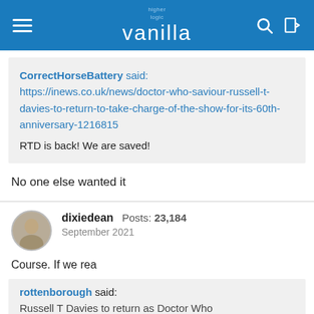higher logic vanilla
CorrectHorseBattery said: https://inews.co.uk/news/doctor-who-saviour-russell-t-davies-to-return-to-take-charge-of-the-show-for-its-60th-anniversary-1216815

RTD is back! We are saved!
No one else wanted it
dixiedean  Posts: 23,184  September 2021
Course. If we rea
rottenborough said: Russell T Davies to return as Doctor Who